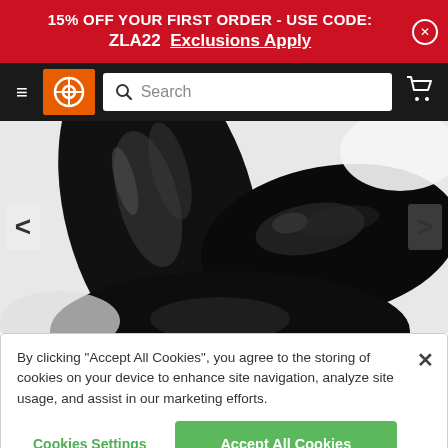15% OFF YOUR FIRST ORDER - USE CODE: ZLA22  Exclusions Apply
[Figure (screenshot): E-commerce navigation bar with hamburger menu, orange logo icon, search bar, and cart icon on dark background]
[Figure (photo): Close-up photo of shiny black automotive or mechanical parts on white background, with left and right navigation arrows]
By clicking “Accept All Cookies”, you agree to the storing of cookies on your device to enhance site navigation, analyze site usage, and assist in our marketing efforts.
Cookies Settings
Accept All Cookies